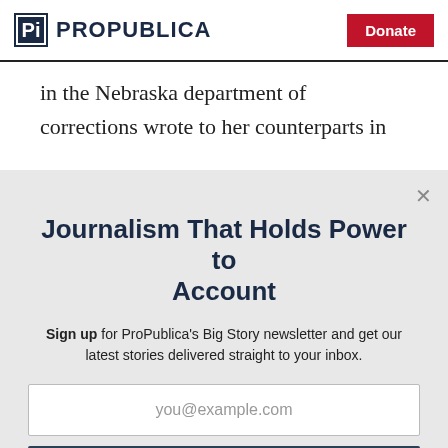ProPublica | Donate
in the Nebraska department of corrections wrote to her counterparts in
Journalism That Holds Power to Account
Sign up for ProPublica's Big Story newsletter and get our latest stories delivered straight to your inbox.
you@example.com
Get the Newsletter
No thanks, I'm all set
This site is protected by reCAPTCHA and the Google Privacy Policy and Terms of Service apply.